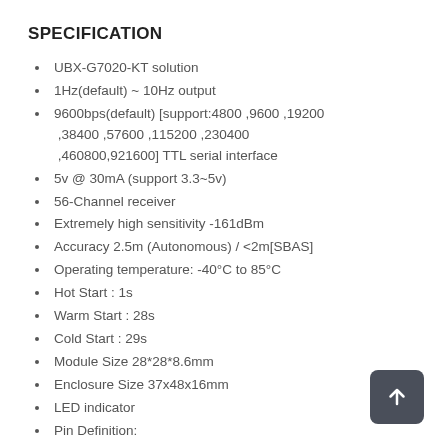SPECIFICATION
UBX-G7020-KT solution
1Hz(default) ~ 10Hz output
9600bps(default) [support:4800 ,9600 ,19200 ,38400 ,57600 ,115200 ,230400 ,460800,921600] TTL serial interface
5v @ 30mA (support 3.3~5v)
56-Channel receiver
Extremely high sensitivity -161dBm
Accuracy 2.5m (Autonomous) / <2m[SBAS]
Operating temperature: -40°C to 85°C
Hot Start : 1s
Warm Start : 28s
Cold Start : 29s
Module Size 28*28*8.6mm
Enclosure Size 37x48x16mm
LED indicator
Pin Definition:
White:PPS
Red:VCC